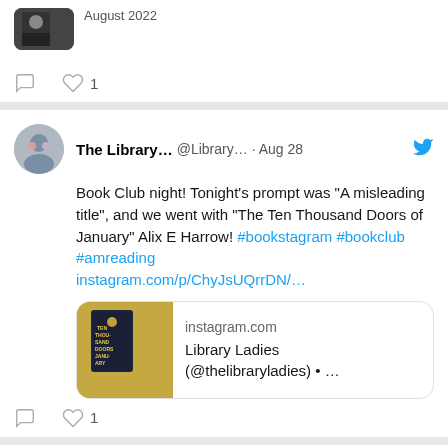[Figure (screenshot): Partial top tweet card showing a photo thumbnail and like count of 1]
1
[Figure (screenshot): Tweet by The Library... @Library... Aug 28 with Twitter bird icon. Text: Book Club night! Tonight's prompt was "A misleading title", and we went with "The Ten Thousand Doors of January" Alix E Harrow! #bookstagram #bookclub #amreading instagram.com/p/ChyJsUQrrDN/... With link preview card: instagram.com / Library Ladies (@thelibraryladies) • ...]
1
[Figure (screenshot): Partial bottom tweet by The Library... @Library... Aug 26. Text: It's 1925 in Washington, D.C. and Clare's life is plagued by spirits. However, when (cut off)]